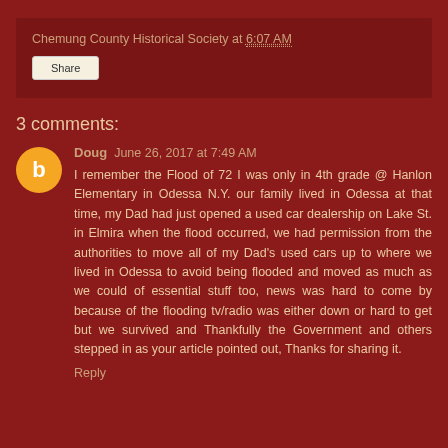Chemung County Historical Society at 6:07 AM
Share
3 comments:
Doug  June 26, 2017 at 7:49 AM
I remember the Flood of 72 I was only in 4th grade @ Hanlon Elementary in Odessa N.Y. our family lived in Odessa at that time, my Dad had just opened a used car dealership on Lake St. in Elmira when the flood occurred, we had permission from the authorities to move all of my Dad's used cars up to where we lived in Odessa to avoid being flooded and moved as much as we could of essential stuff too, news was hard to come by because of the flooding tv/radio was either down or hard to get but we survived and Thankfully the Government and others stepped in as your article pointed out, Thanks for sharing it.
Reply